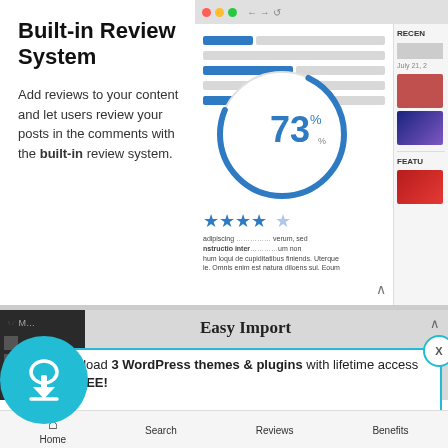Built-in Review System
Add reviews to your content and let users review your posts in the comments with the built-in review system.
[Figure (screenshot): Browser screenshot showing a WordPress review plugin interface with progress bars, a circular gauge showing 73%, star ratings (4 out of 5 stars), and lorem ipsum text content. A right sidebar shows 'RECEN' label with thumbnail images.]
[Figure (screenshot): Partial screenshot of WordPress admin area showing 'Easy Import' text with a navigation chevron.]
[Figure (infographic): Popup overlay with cyan border containing cloud download icon (cyan circle), text 'Download 3 WordPress themes & plugins with lifetime access for FREE!' and 'Click here to Join' link in orange. Close button X in top right.]
Download 3 WordPress themes & plugins with lifetime access for FREE!
Click here to Join
Home    Search    Reviews    Benefits